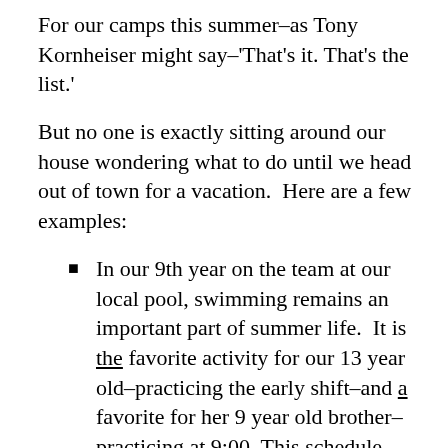For our camps this summer–as Tony Kornheiser might say–'That's it. That's the list.'
But no one is exactly sitting around our house wondering what to do until we head out of town for a vacation.  Here are a few examples:
In our 9th year on the team at our local pool, swimming remains an important part of summer life.  It is the favorite activity for our 13 year old–practicing the early shift–and a favorite for her 9 year old brother–practicing at 9:00. This schedule gives each day a balance of consistent structure to start off followed by